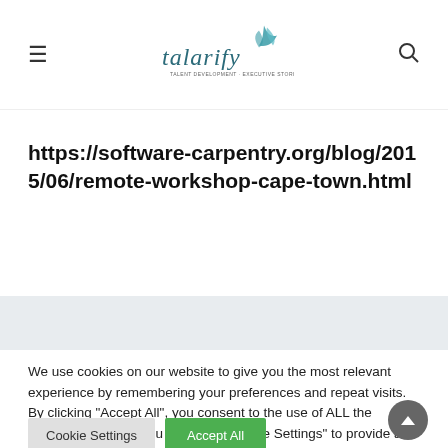talarify [logo with hamburger menu and search icon]
https://software-carpentry.org/blog/2015/06/remote-workshop-cape-town.html
We use cookies on our website to give you the most relevant experience by remembering your preferences and repeat visits. By clicking "Accept All", you consent to the use of ALL the cookies. However, you may visit "Cookie Settings" to provide a controlled consent.